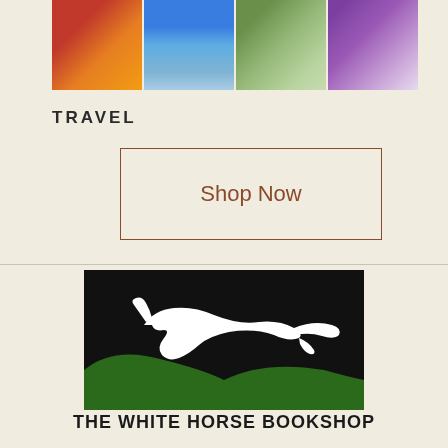[Figure (photo): Four small travel-related photos in a row: colorful market, waterfront/harbor, people outdoors, and a book cover with purple design]
TRAVEL
Shop Now
[Figure (logo): The White Horse Bookshop logo: black rectangle with white abstract horse figure and green hill at the bottom]
THE WHITE HORSE BOOKSHOP